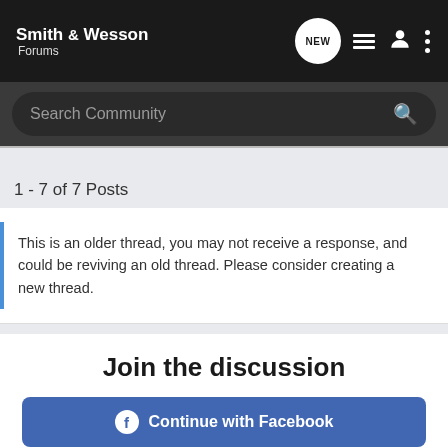Smith & Wesson Forums
Search Community
1 - 7 of 7 Posts
This is an older thread, you may not receive a response, and could be reviving an old thread. Please consider creating a new thread.
Join the discussion
Continue with Facebook
Continue with Google
[Figure (screenshot): Advertisement banner for Sharps Edge featuring firearm image with text EXCEPTIONAL DESIGNS. EXCEPTIONAL CRAFTSMANSHIP.]